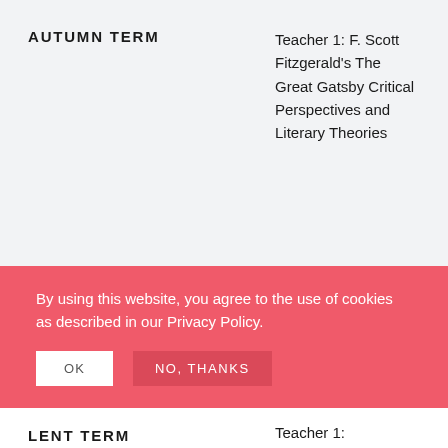AUTUMN TERM
Teacher 1: F. Scott Fitzgerald's The Great Gatsby Critical Perspectives and Literary Theories
Teacher 2:
By using this website, you agree to the use of cookies as described in our Privacy Policy.
OK
NO, THANKS
LENT TERM
Teacher 1: